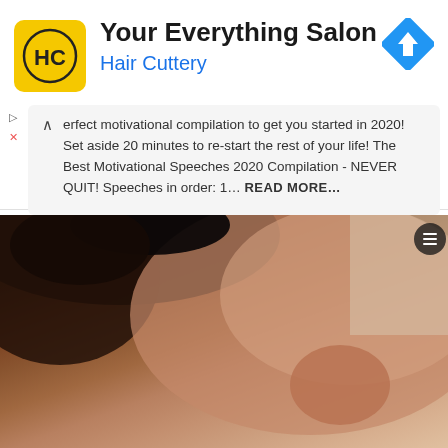[Figure (screenshot): Hair Cuttery advertisement banner with yellow HC logo, title 'Your Everything Salon', subtitle 'Hair Cuttery', and a blue navigation/directions icon on the right]
erfect motivational compilation to get you started in 2020! Set aside 20 minutes to re-start the rest of your life! The Best Motivational Speeches 2020 Compilation - NEVER QUIT! Speeches in order: 1... READ MORE...
[Figure (photo): Close-up side profile photo of a person's face looking upward, showing their hair, ear, nose, and facial features against a light background]